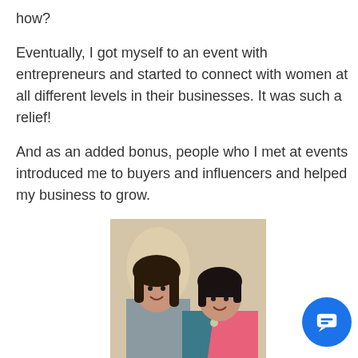how?
Eventually, I got myself to an event with entrepreneurs and started to connect with women at all different levels in their businesses. It was such a relief!
And as an added bonus, people who I met at events introduced me to buyers and influencers and helped my business to grow.
[Figure (photo): Two women posing together, smiling, one in a gray blazer and one in a teal and pink outfit]
During that time, I met Robin at a trade sho was the Director of Sales for Dogeared Jew Gifts. Robin helped Dogeared grow from a small